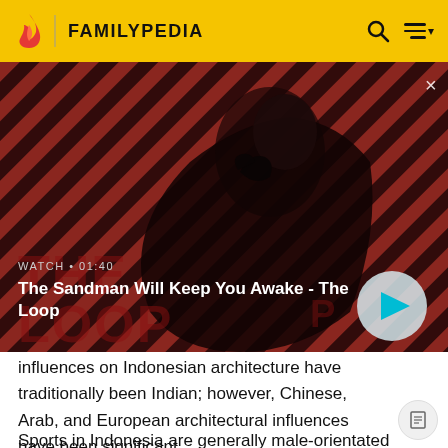FAMILYPEDIA
[Figure (screenshot): Video thumbnail for 'The Sandman Will Keep You Awake - The Loop' with a dark-cloaked figure and a raven on a diagonal red and black striped background. Shows WATCH • 01:40 label and a play button circle.]
influences on Indonesian architecture have traditionally been Indian; however, Chinese, Arab, and European architectural influences have been significant.
Sports in Indonesia are generally male-orientated and spectator sports are often associated with illegal